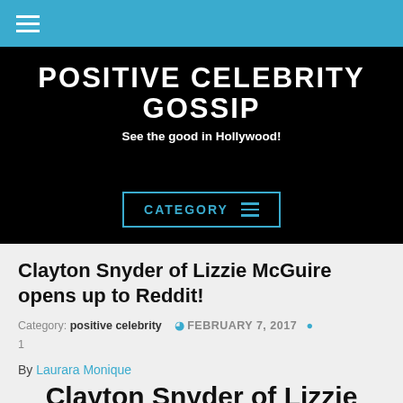POSITIVE CELEBRITY GOSSIP — See the good in Hollywood!
Clayton Snyder of Lizzie McGuire opens up to Reddit!
Category: positive celebrity  FEBRUARY 7, 2017  1
By Laurara Monique
Clayton Snyder of Lizzie McGuire opens up to Reddit!